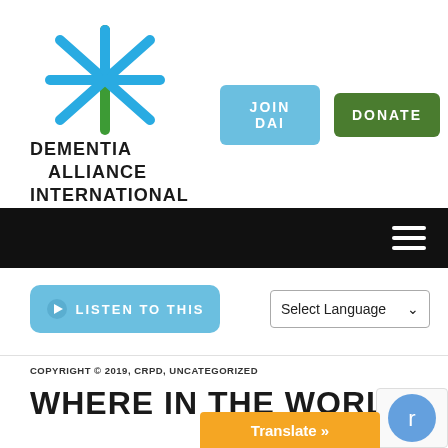[Figure (logo): Dementia Alliance International logo with snowflake/asterisk symbol in blue and green above the text DEMENTIA ALLIANCE INTERNATIONAL]
[Figure (other): JOIN DAI button in light blue and DONATE button in green]
[Figure (other): Black navigation bar with hamburger menu icon (three horizontal lines) on the right]
[Figure (other): LISTEN TO THIS button in light blue with speaker icon]
[Figure (other): Select Language dropdown]
COPYRIGHT © 2019, CRPD, UNCATEGORIZED
WHERE IN THE WORLD
[Figure (other): Translate button in orange at bottom right, and reCAPTCHA widget partially visible]